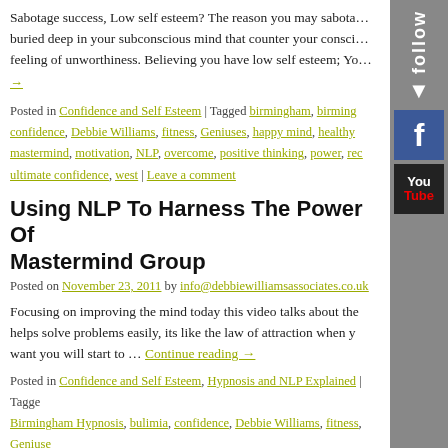Sabotage success, Low self esteem? The reason you may sabotage success is buried deep in your subconscious mind that counter your conscious feeling of unworthiness. Believing you have low self esteem; Yo
→
Posted in Confidence and Self Esteem | Tagged birmingham, birming confidence, Debbie Williams, fitness, Geniuses, happy mind, healthy mastermind, motivation, NLP, overcome, positive thinking, power, rec ultimate confidence, west | Leave a comment
Using NLP To Harness The Power Of Mastermind Group
Posted on November 23, 2011 by info@debbiewilliamsassociates.co.uk
Focusing on improving the mind today this video talks about the helps solve problems easily, its like the law of attraction when y want you will start to … Continue reading →
Posted in Confidence and Self Esteem, Hypnosis and NLP Explained | Tagged Birmingham Hypnosis, bulimia, confidence, Debbie Williams, fitness, Geniuse